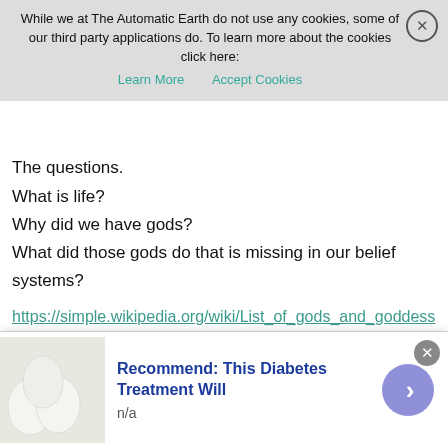While we at The Automatic Earth do not use any cookies, some of our third party applications do. To learn more about the cookies click here: Learn More  Accept Cookies
The questions.
What is life?
Why did we have gods?
What did those gods do that is missing in our belief systems?
https://simple.wikipedia.org/wiki/List_of_gods_and_goddesses
This is a list of deities in different polytheistic religions, cultures and mythologies of the world.
Ancient Egyptian deities
Mesopotamian deities
Ancient Greek deities
Ancient Roman deities
Norse deities
Hindu deities
Hindu gods
Devi
Japanese deities
Recommend: This Diabetes Treatment Will
n/a